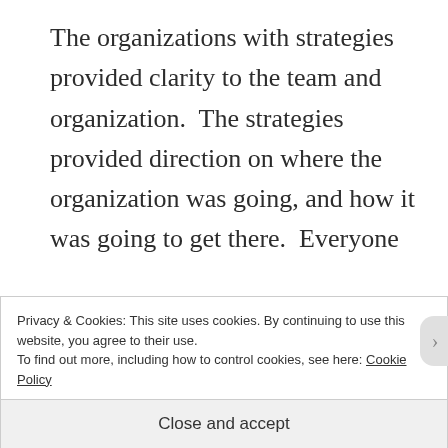The organizations with strategies provided clarity to the team and organization.  The strategies provided direction on where the organization was going, and how it was going to get there.  Everyone had their marching orders, they knew what to do and their efforts were aligned.  It was not uncommon to see the Product
Privacy & Cookies: This site uses cookies. By continuing to use this website, you agree to their use.
To find out more, including how to control cookies, see here: Cookie Policy
Close and accept